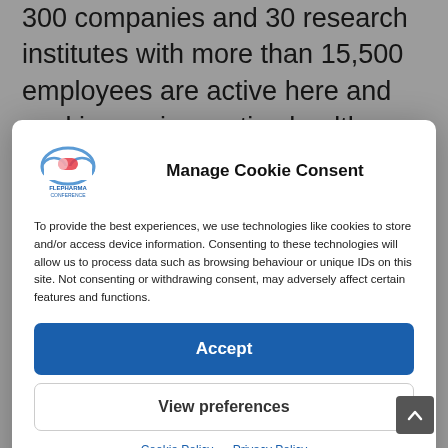300 companies and 30 research institutes with more than 15,500 employees are active here and working on innovative health
[Figure (logo): FLEPharma Conference logo with cloud and pill graphic]
Manage Cookie Consent
To provide the best experiences, we use technologies like cookies to store and/or access device information. Consenting to these technologies will allow us to process data such as browsing behaviour or unique IDs on this site. Not consenting or withdrawing consent, may adversely affect certain features and functions.
Accept
View preferences
Cookie Policy   Privacy Policy
development agency of the German federal state of Saxony-Anhalt. On behalf of Saxony-Anhalt's Ministry of Economic Affairs